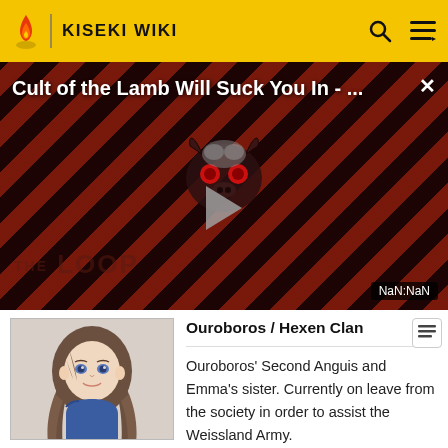KISEKI WIKI
[Figure (screenshot): Video overlay with diagonal red/dark stripes background, showing 'Cult of the Lamb Will Suck You In - ...' title, a cartoon demon character logo in center, play button, 'THE LOOP' watermark text, and NaN:NaN duration badge]
[Figure (illustration): Anime-style character portrait of a young woman with long brown hair, wearing a blue outfit, smiling]
Ouroboros / Hexen Clan
Ouroboros' Second Anguis and Emma's sister. Currently on leave from the society in order to assist the Weissland Army.